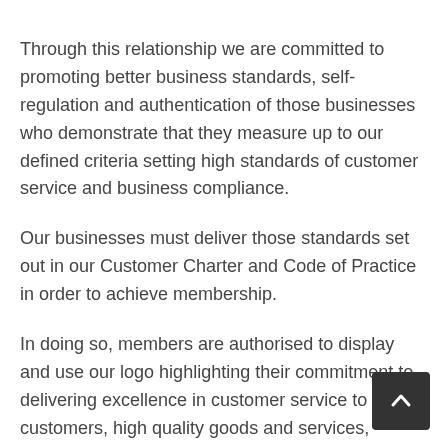Through this relationship we are committed to promoting better business standards, self-regulation and authentication of those businesses who demonstrate that they measure up to our defined criteria setting high standards of customer service and business compliance.
Our businesses must deliver those standards set out in our Customer Charter and Code of Practice in order to achieve membership.
In doing so, members are authorised to display and use our logo highlighting their commitment to delivering excellence in customer service to their customers, high quality goods and services, trading fairly, honestly and with transparency in all their